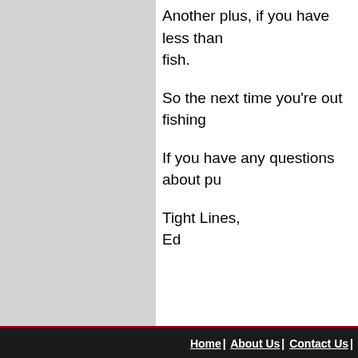Another plus, if you have less than fish.
So the next time you're out fishing
If you have any questions about pu
Tight Lines,
Ed
Home | About Us | Contact Us |